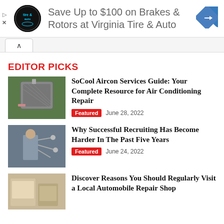[Figure (infographic): Advertisement banner: Save Up to $100 on Brakes & Rotors at Virginia Tire & Auto, with company logo and blue arrow icon]
EDITOR PICKS
[Figure (photo): Photo of an outdoor air conditioning unit]
SoCool Aircon Services Guide: Your Complete Resource for Air Conditioning Repair
Featured   June 28, 2022
[Figure (photo): Photo of a person working on machinery or bicycle parts]
Why Successful Recruiting Has Become Harder In The Past Five Years
Featured   June 24, 2022
[Figure (photo): Photo of an automobile repair shop interior]
Discover Reasons You Should Regularly Visit a Local Automobile Repair Shop